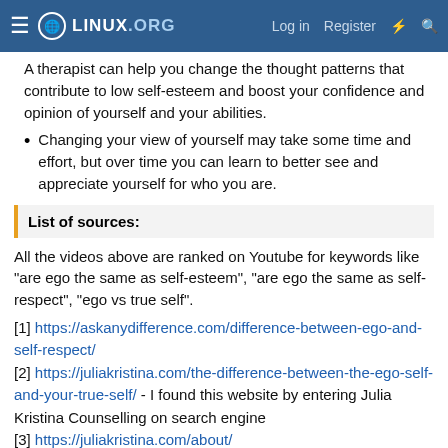Linux.org — Log in | Register
A therapist can help you change the thought patterns that contribute to low self-esteem and boost your confidence and opinion of yourself and your abilities.
Changing your view of yourself may take some time and effort, but over time you can learn to better see and appreciate yourself for who you are.
List of sources:
All the videos above are ranked on Youtube for keywords like "are ego the same as self-esteem", "are ego the same as self-respect", "ego vs true self".
[1] https://askanydifference.com/difference-between-ego-and-self-respect/
[2] https://juliakristina.com/the-difference-between-the-ego-self-and-your-true-self/ - I found this website by entering Julia Kristina Counselling on search engine
[3] https://juliakristina.com/about/